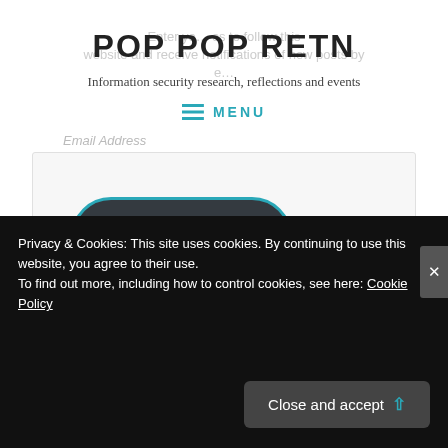POP POP RETN
Information security research, reflections and events
Enter your email address to follow this website and receive notifications of new posts by email.
≡  MENU
Email Address
SUBSCRIBE
Advertisements
Privacy & Cookies: This site uses cookies. By continuing to use this website, you agree to their use.
To find out more, including how to control cookies, see here: Cookie Policy
Close and accept